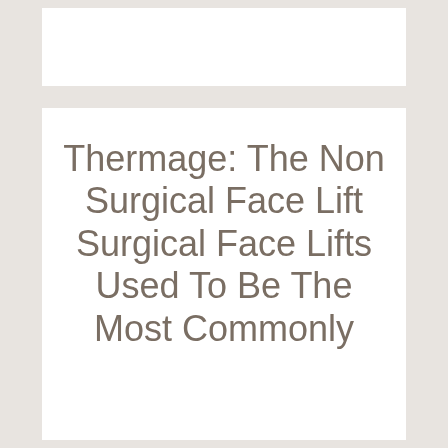Thermage: The Non Surgical Face Lift Surgical Face Lifts Used To Be The Most Commonly